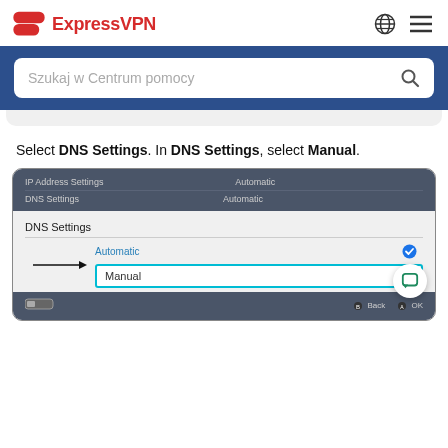[Figure (screenshot): ExpressVPN website header with logo and navigation icons (globe and hamburger menu)]
[Figure (screenshot): Blue search bar section with 'Szukaj w Centrum pomocy' placeholder text and search icon]
Select DNS Settings. In DNS Settings, select Manual.
[Figure (screenshot): DNS Settings screen showing IP Address Settings as Automatic, DNS Settings header, Automatic option with checkmark, and Manual option highlighted with teal border and arrow pointing to it. Bottom bar shows Back and OK buttons.]